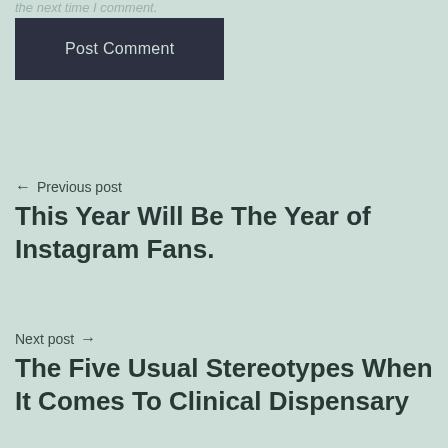the next time I comment.
Post Comment
← Previous post
This Year Will Be The Year of Instagram Fans.
Next post →
The Five Usual Stereotypes When It Comes To Clinical Dispensary